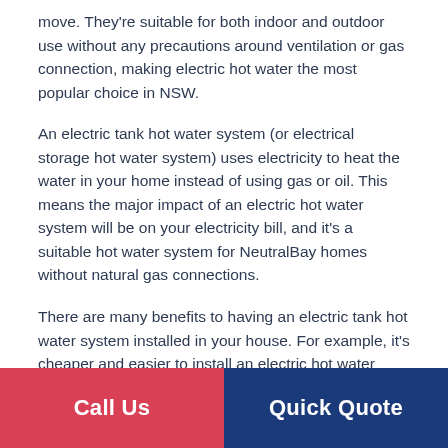move. They're suitable for both indoor and outdoor use without any precautions around ventilation or gas connection, making electric hot water the most popular choice in NSW.
An electric tank hot water system (or electrical storage hot water system) uses electricity to heat the water in your home instead of using gas or oil. This means the major impact of an electric hot water system will be on your electricity bill, and it's a suitable hot water system for NeutralBay homes without natural gas connections.
There are many benefits to having an electric tank hot water system installed in your house. For example, it's cheaper and easier to install an electric hot water system, and it also requires less maintenance. To find out more about electric tank hot water system installation in
Call Us   Quick Quote